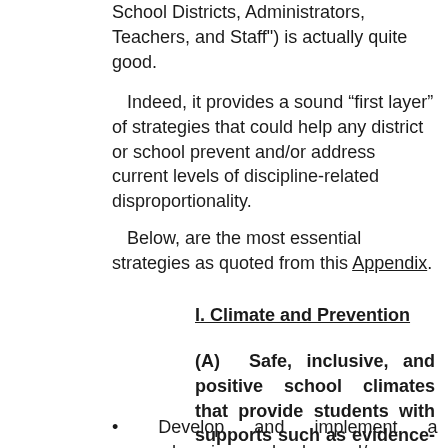School Districts, Administrators, Teachers, and Staff") is actually quite good.
Indeed, it provides a sound “first layer” of strategies that could help any district or school prevent and/or address current levels of discipline-related disproportionality.
Below, are the most essential strategies as quoted from this Appendix.
I. Climate and Prevention
(A)  Safe, inclusive, and positive school climates that provide students with supports such as evidence-based tiered supports and social and emotional learning.
Develop and implement a comprehensive school- and/or